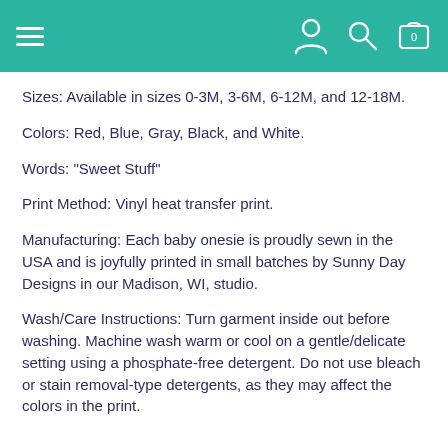Navigation header with hamburger menu, user icon, search icon, and cart icon (0)
Sizes: Available in sizes 0-3M, 3-6M, 6-12M, and 12-18M.
Colors: Red, Blue, Gray, Black, and White.
Words: "Sweet Stuff"
Print Method: Vinyl heat transfer print.
Manufacturing: Each baby onesie is proudly sewn in the USA and is joyfully printed in small batches by Sunny Day Designs in our Madison, WI, studio.
Wash/Care Instructions: Turn garment inside out before washing. Machine wash warm or cool on a gentle/delicate setting using a phosphate-free detergent. Do not use bleach or stain removal-type detergents, as they may affect the colors in the print.